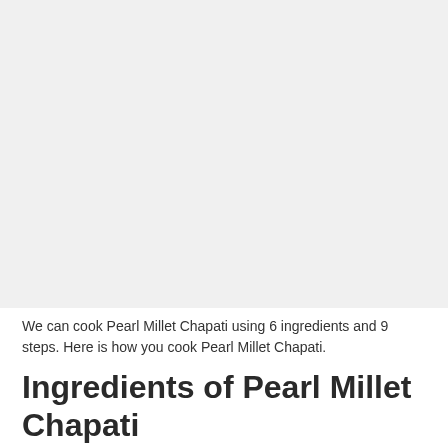[Figure (photo): Large image placeholder area with light gray background, likely a photo of Pearl Millet Chapati]
We can cook Pearl Millet Chapati using 6 ingredients and 9 steps. Here is how you cook Pearl Millet Chapati.
Ingredients of Pearl Millet Chapati
1. You need to prepare 2 Cups of Wheat Flour.